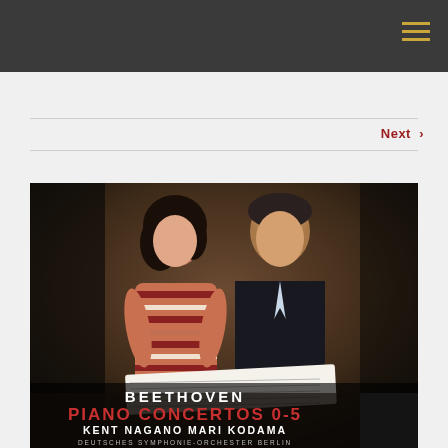Navigation header with hamburger menu
Next >
[Figure (photo): Album cover photo showing two musicians (Mari Kodama and Kent Nagano) seated at a table with sheet music. Below them text reads: BEETHOVEN / PIANO CONCERTOS 0-5 / KENT NAGANO  MARI KODAMA / DEUTSCHES SYMPHONIE-ORCHESTER BERLIN]